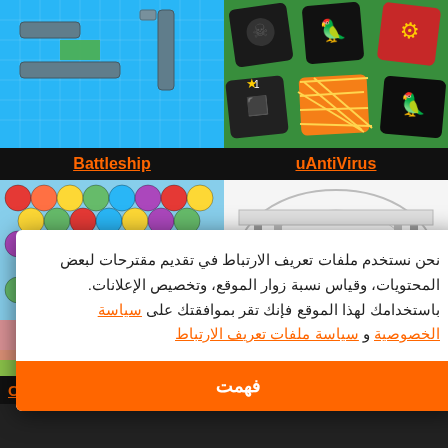[Figure (screenshot): Battleship game screenshot showing blue grid with ship pieces and green squares]
[Figure (screenshot): uAntiVirus app screenshot showing card-style icons on green background]
Battleship
uAntiVirus
[Figure (screenshot): Circus bubble shooter game screenshot with colorful bubbles on sky background]
[Figure (screenshot): Black and white historical photo display app screenshot]
Circus
نحن نستخدم ملفات تعريف الارتباط في تقديم مقترحات لبعض المحتويات، وقياس نسبة زوار الموقع، وتخصيص الإعلانات. باستخدامك لهذا الموقع فإنك تقر بموافقتك على سياسة الخصوصية و سياسة ملفات تعريف الارتباط
فهمت